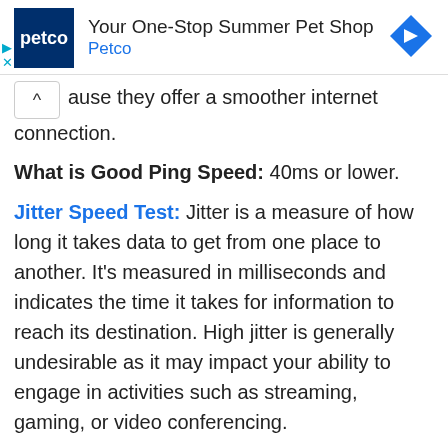[Figure (other): Petco advertisement banner: logo, 'Your One-Stop Summer Pet Shop', 'Petco', blue diamond arrow icon, ad control icons]
ause they offer a smoother internet connection.
What is Good Ping Speed: 40ms or lower.
Jitter Speed Test: Jitter is a measure of how long it takes data to get from one place to another. It's measured in milliseconds and indicates the time it takes for information to reach its destination. High jitter is generally undesirable as it may impact your ability to engage in activities such as streaming, gaming, or video conferencing.
What is Good Jitter Speed: 30ms or lower.